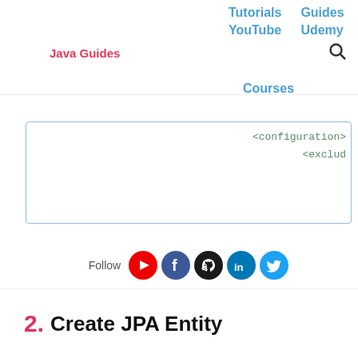Java Guides | Tutorials | Guides | YouTube | Udemy | Courses
<configuration>
<exclud

</exclu
</configuration
</plugin>
</plugins>
</build>

</project>
Follow
2. Create JPA Entity...